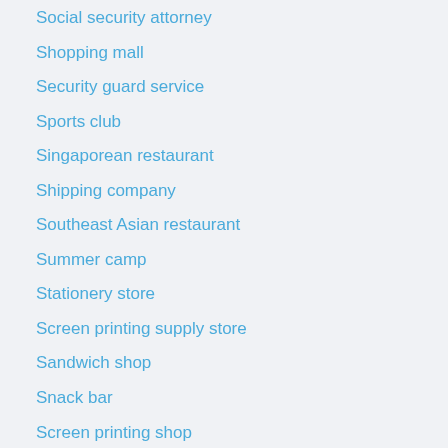Social security attorney
Shopping mall
Security guard service
Sports club
Singaporean restaurant
Shipping company
Southeast Asian restaurant
Summer camp
Stationery store
Screen printing supply store
Sandwich shop
Snack bar
Screen printing shop
Security system installer